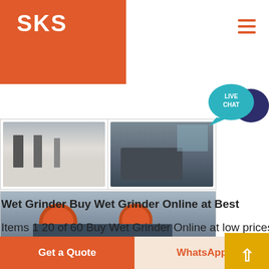SKS
[Figure (photo): Industrial facility floor with people walking, viewed from side]
[Figure (photo): Industrial machinery equipment in a factory setting]
[Figure (photo): Large jaw crusher machine with orange flywheels on yellow/black striped floor]
[Figure (illustration): Live Chat speech bubble icon with dark blue chat bubble]
Wet Grinder Buy Wet Grinder Online at Best
Items 1 20 of 60 Buy Wet Grinder Online at low prices in India Shop online wide range of Grinder from top brands on Snapdeal Ge
Get a Quote
WhatsApp